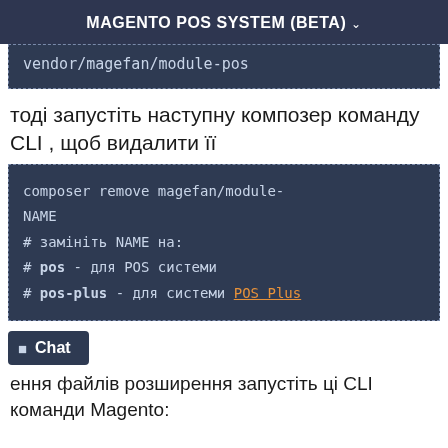MAGENTO POS SYSTEM (BETA) ˅
vendor/magefan/module-pos
тоді запустіть наступну композер команду CLI , щоб видалити її
composer remove magefan/module-NAME
# замініть NAME на:
# pos - для POS системи
# pos-plus - для системи POS Plus
Chat
ення файлів розширення запустіть ці CLI команди Magento: